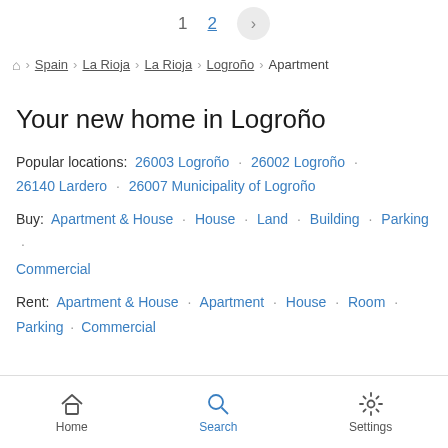1  2  >
Home > Spain > La Rioja > La Rioja > Logroño > Apartment
Your new home in Logroño
Popular locations:  26003 Logroño  ·  26002 Logroño  ·  26140 Lardero  ·  26007 Municipality of Logroño
Buy:  Apartment & House  ·  House  ·  Land  ·  Building  ·  Parking  ·  Commercial
Rent:  Apartment & House  ·  Apartment  ·  House  ·  Room  ·  Parking  ·  Commercial
Home  Search  Settings